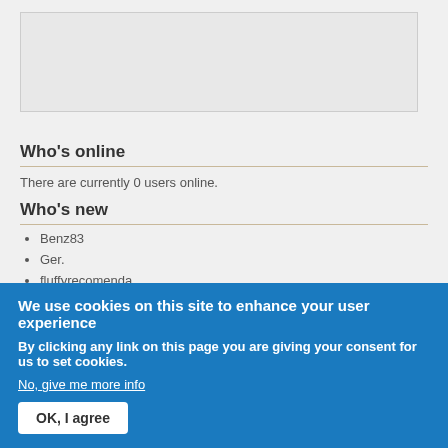[Figure (other): Empty textarea/input box with light gray background]
Who's online
There are currently 0 users online.
Who's new
Benz83
Ger.
fluffyrecomenda
terryfundak
Bence98007
We use cookies on this site to enhance your user experience
By clicking any link on this page you are giving your consent for us to set cookies.
No, give me more info
OK, I agree